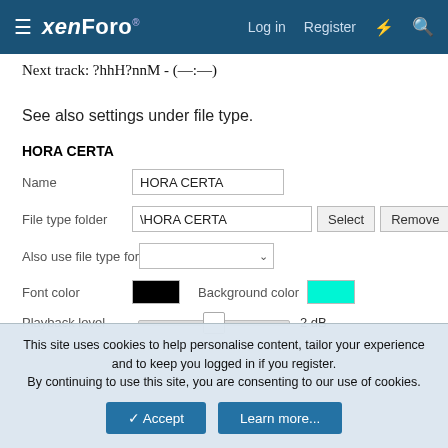xenForo  Log in  Register
Next track: ?hhH?nnM - (—:—)
See also settings under file type.
HORA CERTA
Name  HORA CERTA
File type folder  \HORA CERTA  Select  Remove
Also use file type for
Font color  [black]  Background color  [cyan]
Playback level  2 dB
This site uses cookies to help personalise content, tailor your experience and to keep you logged in if you register.
By continuing to use this site, you are consenting to our use of cookies.